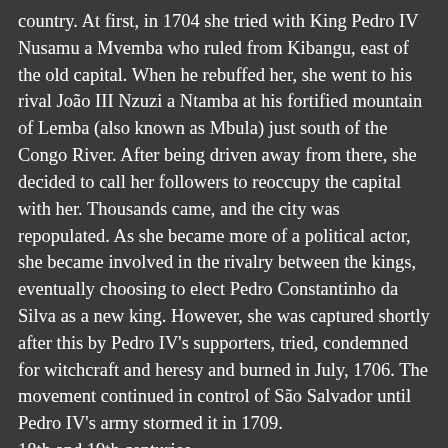country. At first, in 1704 she tried with King Pedro IV Nusamu a Mvemba who ruled from Kibangu, east of the old capital. When he rebuffed her, she went to his rival João III Nzuzi a Ntamba at his fortified mountain of Lemba (also known as Mbula) just south of the Congo River. After being driven away from there, she decided to call her followers to reoccupy the capital with her. Thousands came, and the city was repopulated. As she became more of a political actor, she became involved in the rivalry between the kings, eventually choosing to elect Pedro Constantinho da Silva as a new king. However, she was captured shortly after this by Pedro IV's supporters, tried, condemned for witchcraft and heresy and burned in July, 1706. The movement continued in control of São Salvador until Pedro IV's army stormed it in 1709.
18th and 19th centuries
In the eighteenth and nineteenth centuries, Kongo artists began making crucifixes and other religious